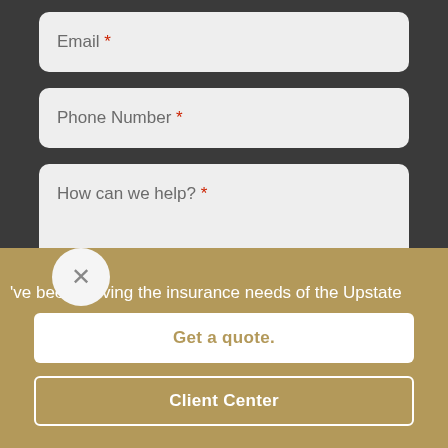Email *
Phone Number *
How can we help? *
've been serving the insurance needs of the Upstate
Get a quote.
Client Center